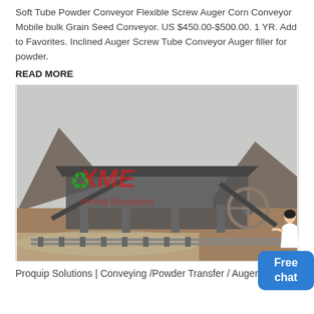Soft Tube Powder Conveyor Flexible Screw Auger Corn Conveyor Mobile bulk Grain Seed Conveyor. US $450.00-$500.00. 1 YR. Add to Favorites. Inclined Auger Screw Tube Conveyor Auger filler for powder.
READ MORE
[Figure (photo): Industrial mining/crushing facility photographed from ground level near a river. Large industrial structure with conveyors and equipment visible. XME Mining Equipment watermark overlaid on the image.]
Proquip Solutions | Conveying /Powder Transfer / Augers